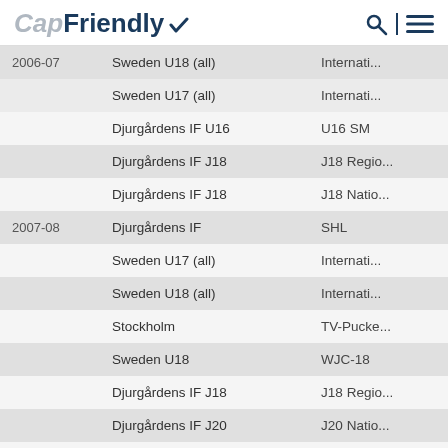CapFriendly
| Year | Team | League |
| --- | --- | --- |
| 2006-07 | Sweden U18 (all) | Internati... |
|  | Sweden U17 (all) | Internati... |
|  | Djurgårdens IF U16 | U16 SM |
|  | Djurgårdens IF J18 | J18 Regio... |
|  | Djurgårdens IF J18 | J18 Natio... |
| 2007-08 | Djurgårdens IF | SHL |
|  | Sweden U17 (all) | Internati... |
|  | Sweden U18 (all) | Internati... |
|  | Stockholm | TV-Pucke... |
|  | Sweden U18 | WJC-18 |
|  | Djurgårdens IF J18 | J18 Regio... |
|  | Djurgårdens IF J20 | J20 Natio... |
|  | Djurgårdens IF J18 | J18 Nati... |
| 2008-09 | Djurgårdens IF | SHL |